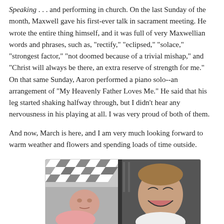Speaking . . . and performing in church. On the last Sunday of the month, Maxwell gave his first-ever talk in sacrament meeting. He wrote the entire thing himself, and it was full of very Maxwellian words and phrases, such as, "rectify," "eclipsed," "solace," "strongest factor," "not doomed because of a trivial mishap," and "Christ will always be there, an extra reserve of strength for me." On that same Sunday, Aaron performed a piano solo--an arrangement of "My Heavenly Father Loves Me." He said that his leg started shaking halfway through, but I didn't hear any nervousness in his playing at all. I was very proud of both of them.
And now, March is here, and I am very much looking forward to warm weather and flowers and spending loads of time outside.
[Figure (photo): Photo of a laughing older boy lying next to a newborn baby, on a grey blanket with a black and white chevron patterned fabric in the background.]